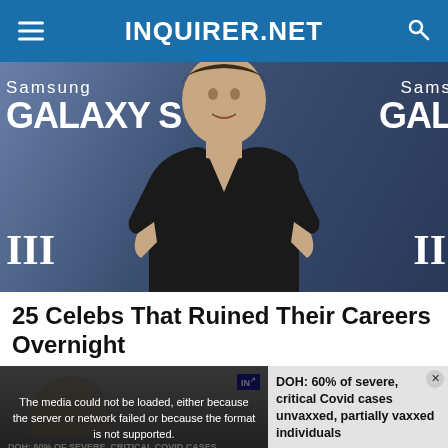INQUIRER.NET
[Figure (photo): Man in black v-neck t-shirt standing in front of Samsung Galaxy branded backdrop]
25 Celebs That Ruined Their Careers Overnight
[Figure (screenshot): Video thumbnail showing media error overlay: 'The media could not be loaded, either because the server or network failed or because the format is not supported.' with news caption 'DOH: 60% of severe, critical Covid cases unvaxxed, partially vaxxed individuals']